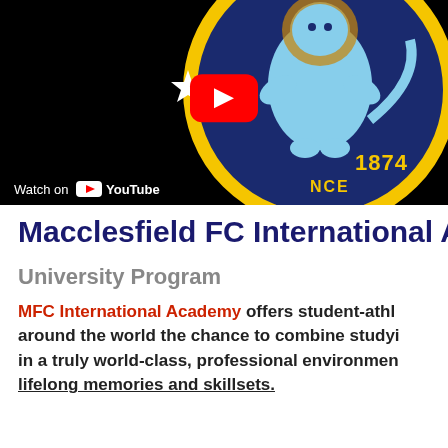[Figure (screenshot): YouTube video thumbnail showing Macclesfield FC crest (blue circle with yellow lion figure, star, and '1874' text) with a YouTube play button overlay and 'Watch on YouTube' badge at bottom left.]
Macclesfield FC International Ac
University Program
MFC International Academy offers student-athletes around the world the chance to combine studying in a truly world-class, professional environment, lifelong memories and skillsets.